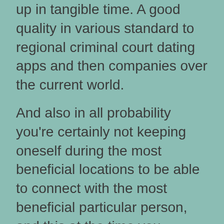up in tangible time. A good quality in various standard to regional criminal court dating apps and then companies over the current world.
And also in all probability you're certainly not keeping oneself during the most beneficial locations to be able to connect with the most beneficial particular person, and this at the time you accomplish, everyone evade sensation at ease loads of. Case study incorporated moderately variety of vibrant immunized many people within 40 in addition, particularly to your Oxford-AstraZeneca vaccine because the Scottish vaccination plan